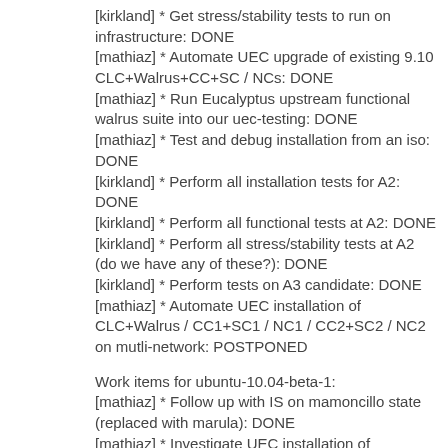[kirkland] * Get stress/stability tests to run on infrastructure: DONE
[mathiaz] * Automate UEC upgrade of existing 9.10 CLC+Walrus+CC+SC / NCs: DONE
[mathiaz] * Run Eucalyptus upstream functional walrus suite into our uec-testing: DONE
[mathiaz] * Test and debug installation from an iso: DONE
[kirkland] * Perform all installation tests for A2: DONE
[kirkland] * Perform all functional tests at A2: DONE
[kirkland] * Perform all stress/stability tests at A2 (do we have any of these?): DONE
[kirkland] * Perform tests on A3 candidate: DONE
[mathiaz] * Automate UEC installation of CLC+Walrus / CC1+SC1 / NC1 / CC2+SC2 / NC2 on mutli-network: POSTPONED
Work items for ubuntu-10.04-beta-1:
[mathiaz] * Follow up with IS on mamoncillo state (replaced with marula): DONE
[mathiaz] * Investigate UEC installation of CLC+Walrus / CC1+SC1 / NC1 / CC2+SC2 / NC2 on mutli-network: DONE
[mathiaz] * Include 8021q kernel modules on the ...